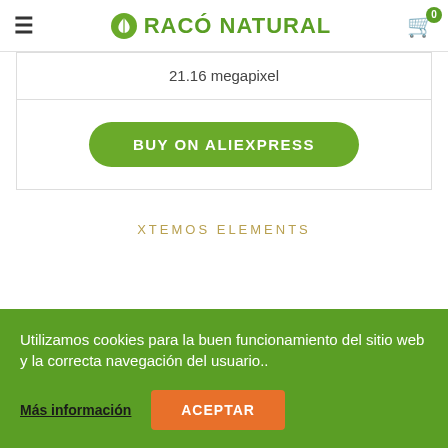RACÓ NATURAL
21.16 megapixel
BUY ON ALIEXPRESS
XTEMOS ELEMENTS
Utilizamos cookies para la buen funcionamiento del sitio web y la correcta navegación del usuario..
Más información
ACEPTAR